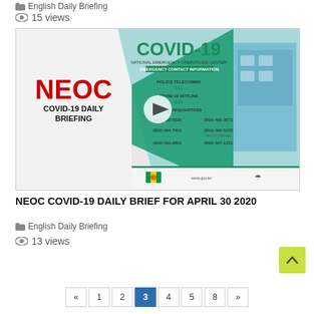English Daily Briefing
15 views
[Figure (screenshot): NEOC COVID-19 Daily Briefing video thumbnail showing title text and emergency contact information for St. Kitts NEOC, with play button overlay.]
NEOC COVID-19 DAILY BRIEF FOR APRIL 30 2020
English Daily Briefing
13 views
« 1 2 3 4 5 8 »